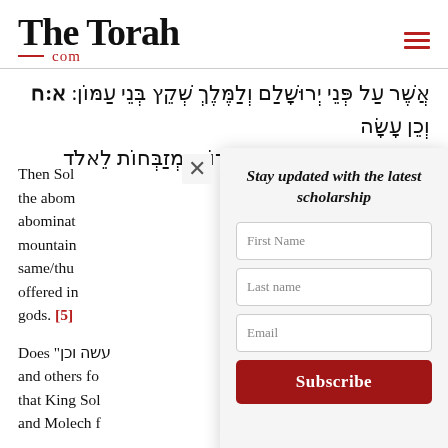The Torah .com
אֲשֶׁר עַל פְּנֵי יְרוּשָׁלַם וְלַמֶּלֶךְ שְׁקֵץ בְּנֵי עַמּוֹן: א:ח וְכֵן עָשָׂה לְכָל נָשָׁיו הַנָּכְרִיּוֹת מַקְטִירוֹת וּמְזַבְּחוֹת לֵאלֹד
Then Solomons built the abominations... abominations... mountain... same/thus offered incense gods. [5]
Does "וכן עשה and others fo that King Sol and Molech f
Stay updated with the latest scholarship
First Name
Last name
Email
Subscribe